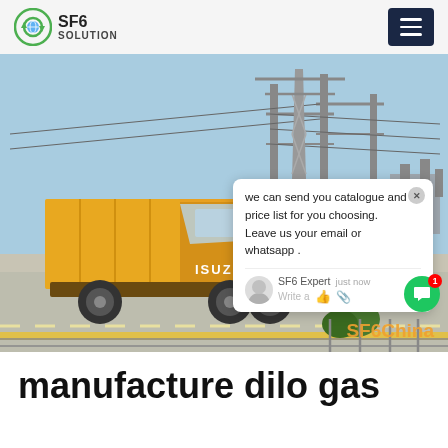SF6 SOLUTION
[Figure (photo): Yellow Isuzu truck parked at an electrical substation with high-voltage transmission towers and equipment in the background. Chat popup overlay visible on right side reading: 'we can send you catalogue and price list for you choosing. Leave us your email or whatsapp.' with SF6 Expert label and 'just now' timestamp. SF6China watermark in orange at bottom right.]
manufacture dilo gas